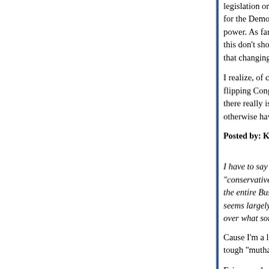legislation or genuine anti-torture investigations to for the Democrats to take control of one House or power. As far as I'm concerned, Republicans who this don't show that they support the administration that changing them is not any sort of a priority.
I realize, of course, that one's vote is exceedingly flipping Congress. But if you won't do (c), you also there really isn't a political risk to supporting tortu otherwise have supported you will vote against yo
Posted by: Katherine | August 30, 2005 at 12:27 PM
I have to say that people leaping on Sebastian, b "conservative" here, as if he were a cardboard sta the entire Bush Administration, while an understa seems largely unjustified; why not stick to debatin over what someone Direly Suspects He Must Sec
Cause I'm a lazy nihilist (with a dash of irony and tough "mutha fucka".
Fair enough...I need to stop avoiding my work.
Posted by: NasDuo | August 30, 2005 at 12:38 PM